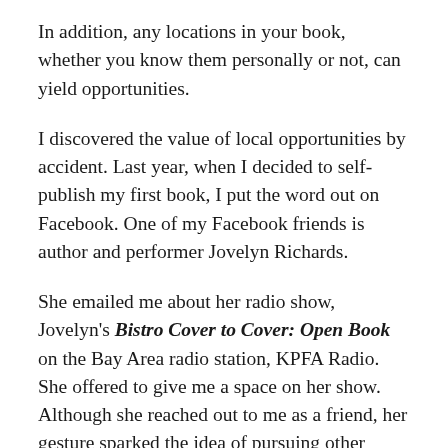In addition, any locations in your book, whether you know them personally or not, can yield opportunities.
I discovered the value of local opportunities by accident. Last year, when I decided to self-publish my first book, I put the word out on Facebook. One of my Facebook friends is author and performer Jovelyn Richards.
She emailed me about her radio show, Jovelyn's Bistro Cover to Cover: Open Book on the Bay Area radio station, KPFA Radio. She offered to give me a space on her show. Although she reached out to me as a friend, her gesture sparked the idea of pursuing other opportunities in the San Francisco Bay Area because my fiction is largely set there. I lived in the city for quite a few years and fell in love with it.